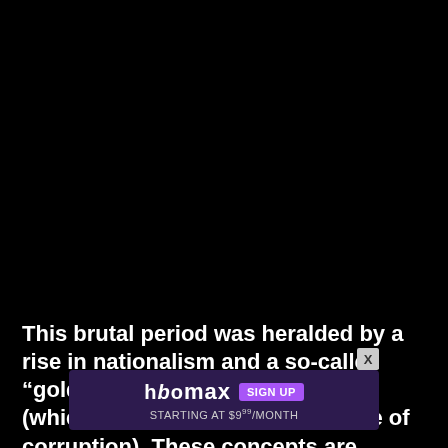[Figure (other): Large black area filling the top portion of the page, appearing to be a video or image player with no visible content.]
This brutal period was heralded by a rise in nationalism and a so-called “golden age” for the Philippines (which was more like a golden age of corruption). These concepts are seen in other nations, such as the fictional sett[ing and their] their cohorts [obscured by ad]
[Figure (other): HBO Max advertisement overlay with dark purple background, showing HBO Max logo, SIGN UP button, and text STARTING AT $9⁹⁹/MONTH, with an X close button.]